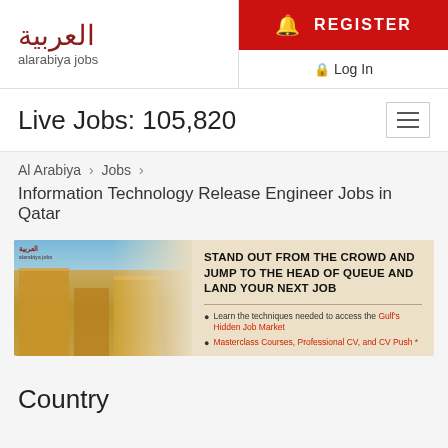[Figure (logo): Al Arabiya Jobs logo with Arabic script in dark red and 'alarabiya jobs' in grey below]
REGISTER
Log In
Live Jobs: 105,820
Al Arabiya › Jobs ›
Information Technology Release Engineer Jobs in Qatar
[Figure (infographic): Banner ad for Al Arabiya Jobs showing skyline photo on left and text: STAND OUT FROM THE CROWD AND JUMP TO THE HEAD OF QUEUE AND LAND YOUR NEXT JOB. Bullet points: Learn the techniques needed to access the Gulf's Hidden Job Market; Masterclass Courses, Professional CV, and CV Push *]
Country